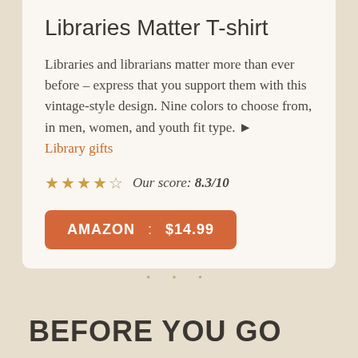Libraries Matter T-shirt
Libraries and librarians matter more than ever before – express that you support them with this vintage-style design. Nine colors to choose from, in men, women, and youth fit type. ► Library gifts
★★★★☆  Our score: 8.3/10
AMAZON  :  $14.99
BEFORE YOU GO